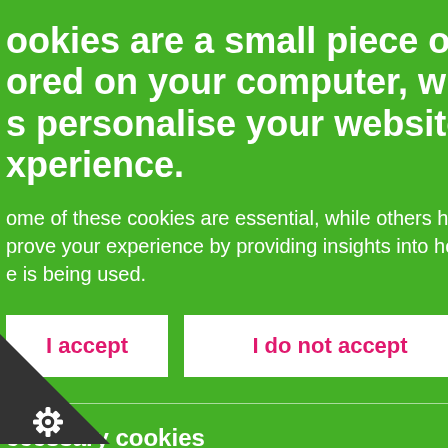Cookies are a small piece of data stored on your computer, which help us personalise your website experience.
Some of these cookies are essential, while others help us to improve your experience by providing insights into how the site is being used.
I accept
I do not accept
Necessary cookies
Necessary cookies enable core functionality such as page navigation and access to secure areas. Our website can't function properly without these cookies: you can only disable them by changing your browser preferences.
month
quest talks to cross the mental